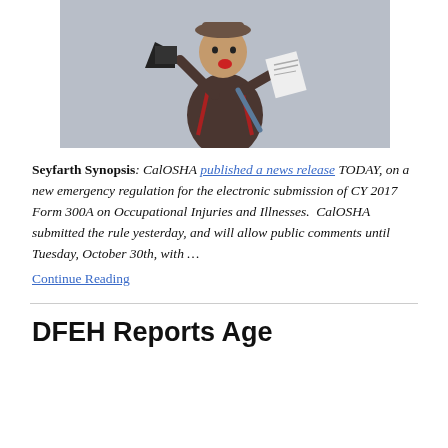[Figure (photo): Boy dressed as newsboy shouting into a megaphone and holding a newspaper, on a grey background]
Seyfarth Synopsis: CalOSHA published a news release TODAY, on a new emergency regulation for the electronic submission of CY 2017 Form 300A on Occupational Injuries and Illnesses. CalOSHA submitted the rule yesterday, and will allow public comments until Tuesday, October 30th, with … Continue Reading
DFEH Reports Age